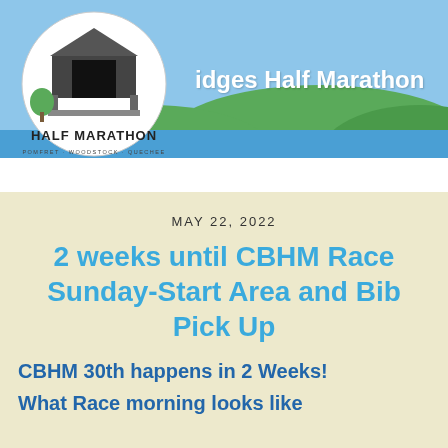[Figure (logo): Covered Bridges Half Marathon circular logo with a covered bridge illustration and text 'HALF MARATHON' and 'POMFRET · WOODSTOCK · QUECHEE']
Covered Bridges Half Marathon
MAY 22, 2022
2 weeks until CBHM Race Sunday-Start Area and Bib Pick Up
CBHM 30th happens in 2 Weeks!
What Race morning looks like